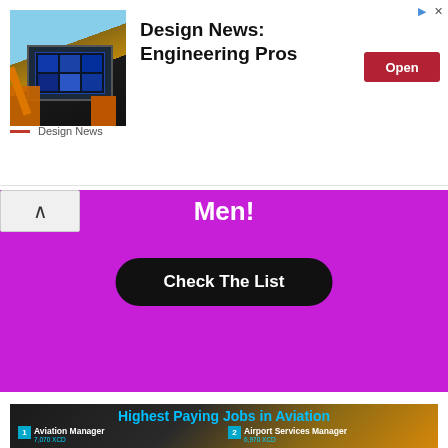[Figure (screenshot): Ad banner for Design News: Engineering Pros with construction/tech image, Open button, and Design News logo]
[Figure (screenshot): Purple advertisement banner with 'Men!' heading and 'Check The List' button, with collapse arrow]
[Figure (infographic): Highest Paying Jobs in Aviation infographic with airplane background listing: 1 Aviation Manager 7,070 XCD, 2 Airport Services Manager 6,970 XCD, 3 Airlines Sales Director 6,820 XCD, 4 Aviation Safety Manager 6,570 XCD, 5 Chief Pilot 6,060 XCD, 6 Airline Pilot 5,870 XCD, 7 Fleet Controller 5,460 XCD, 8 Airfield Specialist 5,200 XCD, 9 Aviation Analyst 4,550 XCD, 10 Aerospace Engineer 4,290 XCD]